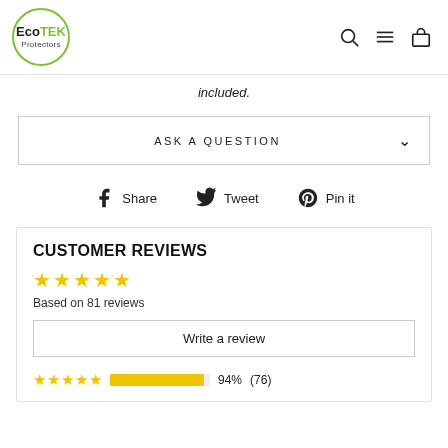EcoTEK Protectors
included.
ASK A QUESTION
Share  Tweet  Pin it
CUSTOMER REVIEWS
Based on 81 reviews
Write a review
94%  (76)